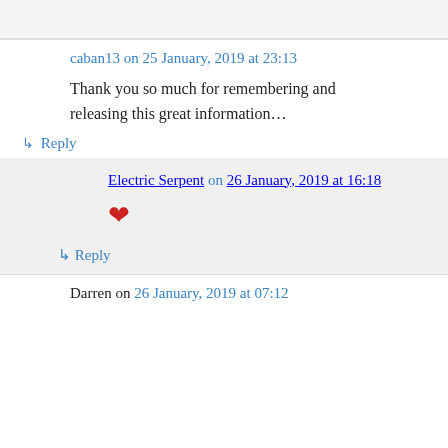caban13 on 25 January, 2019 at 23:13
Thank you so much for remembering and releasing this great information…
↳ Reply
Electric Serpent on 26 January, 2019 at 16:18
[Figure (illustration): Red heart emoji]
↳ Reply
Darren on 26 January, 2019 at 07:12